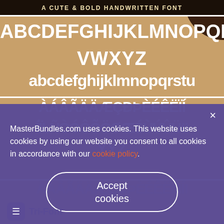[Figure (illustration): Font preview card showing a cute and bold handwritten font on a brown background. Displays uppercase letters A-Z in white, followed by lowercase a-z, then accented/special characters. Multiple rows of characters shown.]
MasterBundles.com uses cookies. This website uses cookies by using our website you consent to all cookies in accordance with our cookie policy.
Accept cookies
Tri-Font